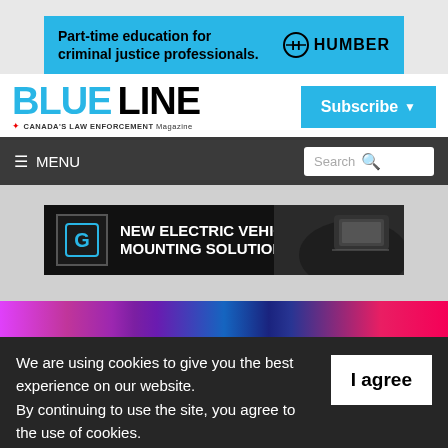[Figure (infographic): Humber College advertisement banner: 'Part-time education for criminal justice professionals.' with Humber logo]
[Figure (logo): Blue Line magazine logo - 'BLUE LINE' with tagline 'Canada's Law Enforcement Magazine' and a Subscribe button]
[Figure (screenshot): Navigation bar with MENU hamburger icon on left and Search box on right]
[Figure (infographic): Advertisement: 'NEW ELECTRIC VEHICLE MOUNTING SOLUTIONS' with dark background and car interior image]
[Figure (photo): Colorful gradient strip at bottom of page content area - pink, purple, blue, red colors]
We are using cookies to give you the best experience on our website. By continuing to use the site, you agree to the use of cookies. To find out more, read our privacy policy.